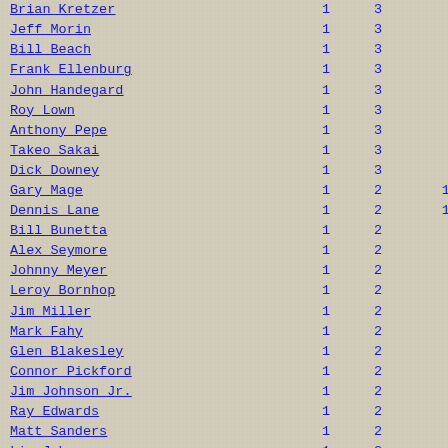| Name | Col1 | Col2 | Col3 |
| --- | --- | --- | --- |
| Brian Kretzer | 1 | 3 | 9 |
| Jeff Morin | 1 | 3 | 9 |
| Bill Beach | 1 | 3 | 9 |
| Frank Ellenburg | 1 | 3 | 9 |
| John Handegard | 1 | 3 | 8 |
| Roy Lown | 1 | 3 | 7 |
| Anthony Pepe | 1 | 3 | 5 |
| Takeo Sakai | 1 | 3 | 4 |
| Dick Downey | 1 | 3 | 4 |
| Gary Mage | 1 | 2 | 18 |
| Dennis Lane | 1 | 2 | 16 |
| Bill Bunetta | 1 | 2 | 8 |
| Alex Seymore | 1 | 2 | 7 |
| Johnny Meyer | 1 | 2 | 7 |
| Leroy Bornhop | 1 | 2 | 6 |
| Jim Miller | 1 | 2 | 6 |
| Mark Fahy | 1 | 2 | 6 |
| Glen Blakesley | 1 | 2 | 6 |
| Connor Pickford | 1 | 2 | 5 |
| Jim Johnson Jr. | 1 | 2 | 5 |
| Ray Edwards | 1 | 2 | 5 |
| Matt Sanders | 1 | 2 | 4 |
| Liz Johnson | 1 | 2 | 4 |
| Mitch Beasley | 1 | 2 | 4 |
| Mark Mosayebi | 1 | 2 | 4 |
| Mike Jasnau | 1 | 2 | 4 |
| Emmett Shutes | 1 | 2 | 4 |
| Bob Hood | 1 | 2 | 4 |
| Terry Booth | 1 | 2 | 4 |
| Andy Rogoznica | 1 | 2 | 4 |